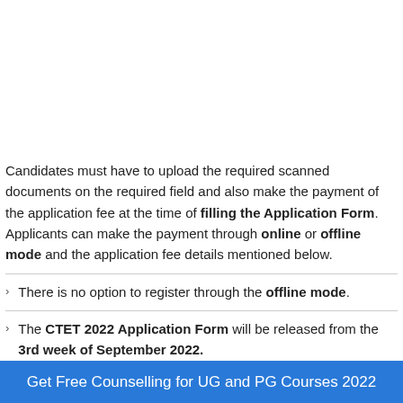Candidates must have to upload the required scanned documents on the required field and also make the payment of the application fee at the time of filling the Application Form. Applicants can make the payment through online or offline mode and the application fee details mentioned below.
There is no option to register through the offline mode.
The CTET 2022 Application Form will be released from the 3rd week of September 2022.
Get Free Counselling for UG and PG Courses 2022